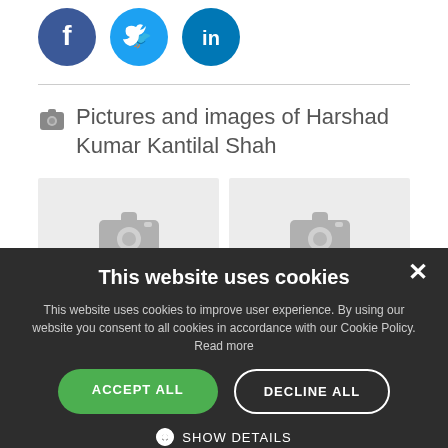[Figure (illustration): Social media share buttons: Facebook (blue circle with f), Twitter (light blue circle with bird), LinkedIn (blue circle with in)]
Pictures and images of Harshad Kumar Kantilal Shah
[Figure (photo): Image placeholder with camera icon (left)]
[Figure (photo): Image placeholder with camera icon (right)]
This website uses cookies
This website uses cookies to improve user experience. By using our website you consent to all cookies in accordance with our Cookie Policy. Read more
ACCEPT ALL
DECLINE ALL
SHOW DETAILS
POWERED BY COOKIE-SCRIPT